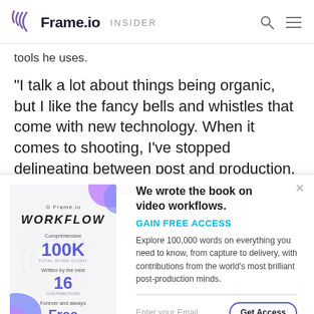Frame.io INSIDER
tools he uses.
“I talk a lot about things being organic, but I like the fancy bells and whistles that come with new technology. When it comes to shooting, I’ve stopped delineating between post and production, because post really starts as we’re
[Figure (other): Modal popup advertising the Frame.io Workflow book. Shows a book cover on the left with stats: 100K words, 16 contributors, Free. Right side has headline 'We wrote the book on video workflows.', 'GAIN FREE ACCESS' in teal, description text, email input field and 'Get Access' button.]